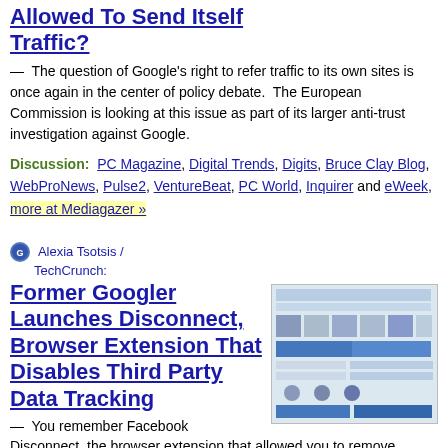Allowed To Send Itself Traffic?
— The question of Google's right to refer traffic to its own sites is once again in the center of policy debate.  The European Commission is looking at this issue as part of its larger anti-trust investigation against Google.
Discussion:  PC Magazine, Digital Trends, Digits, Bruce Clay Blog, WebProNews, Pulse2, VentureBeat, PC World, Inquirer and eWeek, more at Mediagazer »
Alexia Tsotsis / TechCrunch:
Former Googler Launches Disconnect, Browser Extension That Disables Third Party Data Tracking
— You remember Facebook Disconnect, the browser extension that allowed you to remove Facebook Connect functionality from websites? After 50K active users in